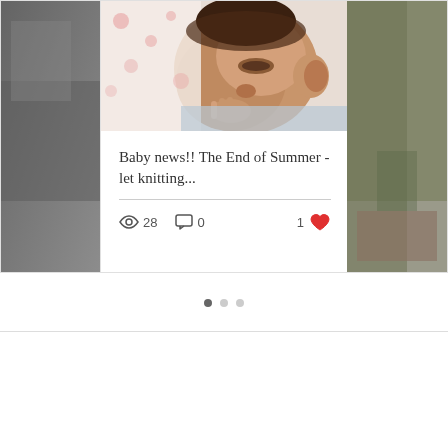[Figure (photo): Left partial card showing a grainy outdoor photo, partially cropped]
[Figure (photo): Close-up photo of a newborn baby sleeping, face in profile with hand near mouth, wearing pink/white patterned wrap]
Baby news!! The End of Summer - let knitting...
28 views, 0 comments, 1 like
[Figure (photo): Right partial card showing a cropped outdoor photo]